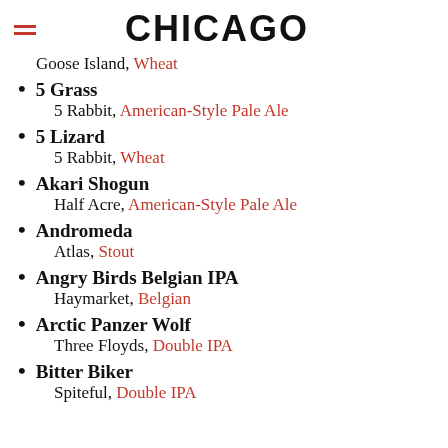CHICAGO
Goose Island, Wheat
5 Grass
5 Rabbit, American-Style Pale Ale
5 Lizard
5 Rabbit, Wheat
Akari Shogun
Half Acre, American-Style Pale Ale
Andromeda
Atlas, Stout
Angry Birds Belgian IPA
Haymarket, Belgian
Arctic Panzer Wolf
Three Floyds, Double IPA
Bitter Biker
Spiteful, Double IPA